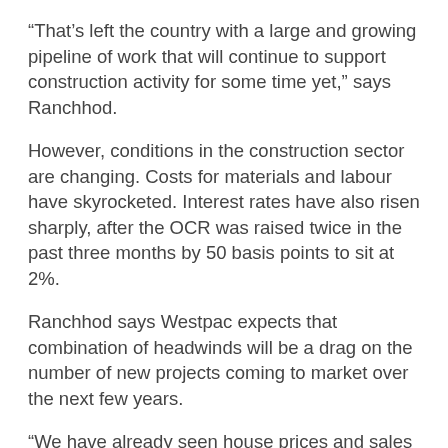“That’s left the country with a large and growing pipeline of work that will continue to support construction activity for some time yet,” says Ranchhod.
However, conditions in the construction sector are changing. Costs for materials and labour have skyrocketed. Interest rates have also risen sharply, after the OCR was raised twice in the past three months by 50 basis points to sit at 2%.
Ranchhod says Westpac expects that combination of headwinds will be a drag on the number of new projects coming to market over the next few years.
“We have already seen house prices and sales dropping back.” The Reserve Bank is expecting a total fall of 14% inhouse prices by early 2024. Other trading banks have predicted a 10-15% fall.